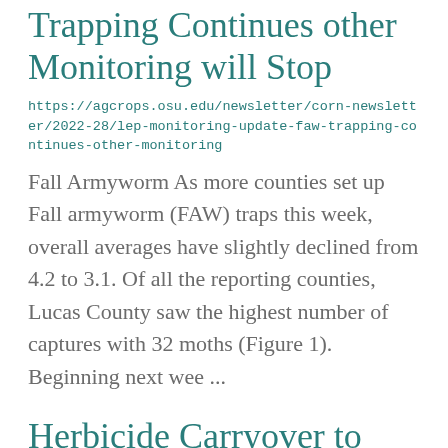Trapping Continues other Monitoring will Stop
https://agcrops.osu.edu/newsletter/corn-newsletter/2022-28/lep-monitoring-update-faw-trapping-continues-other-monitoring
Fall Armyworm As more counties set up Fall armyworm (FAW) traps this week, overall averages have slightly declined from 4.2 to 3.1. Of all the reporting counties, Lucas County saw the highest number of captures with 32 moths (Figure 1). Beginning next wee ...
Herbicide Carryover to Fall Established Cover Crops